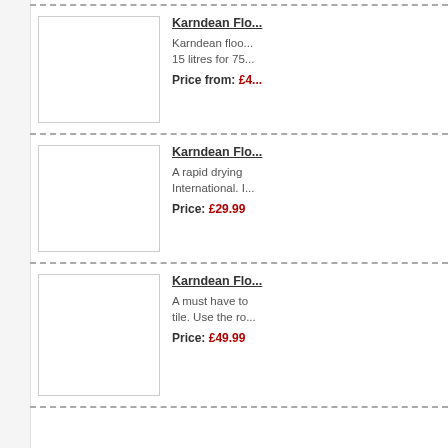[Figure (other): Product image placeholder - white rectangle with border]
Karndean Flo...
Karndean floo... 15 litres for 75...
Price from: £4...
[Figure (other): Product image placeholder - white rectangle with border]
Karndean Flo...
A rapid drying International. I...
Price: £29.99
[Figure (other): Product image placeholder - white rectangle with border]
Karndean Flo...
A must have to tile. Use the ro...
Price: £49.99